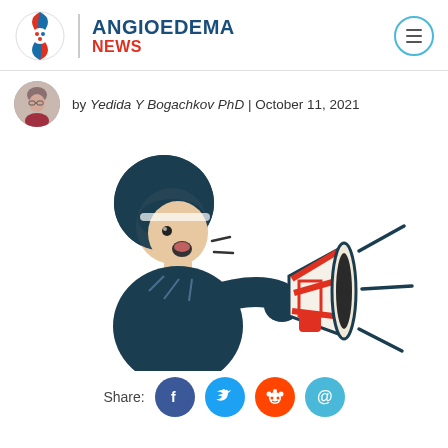ANGIOEDEMA NEWS
by Yedida Y Bogachkov PhD | October 11, 2021
[Figure (illustration): Illustration of a person with dark skin and afro hair yelling into a megaphone with sound lines radiating from it]
Share: